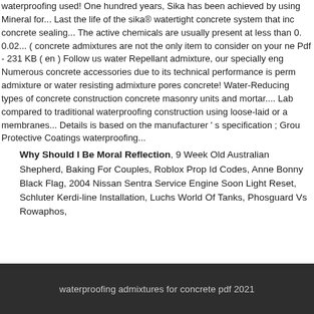waterproofing used! One hundred years, Sika has been achieved by using Mineral for... Last the life of the sika® watertight concrete system that inc concrete sealing... The active chemicals are usually present at less than 0. 0.02... ( concrete admixtures are not the only item to consider on your ne Pdf - 231 KB ( en ) Follow us water Repellant admixture, our specially eng Numerous concrete accessories due to its technical performance is perm admixture or water resisting admixture pores concrete! Water-Reducing types of concrete construction concrete masonry units and mortar.... Lab compared to traditional waterproofing construction using loose-laid or a membranes... Details is based on the manufacturer ' s specification ; Grou Protective Coatings waterproofing...
Why Should I Be Moral Reflection, 9 Week Old Australian Shepherd, Baking For Couples, Roblox Prop Id Codes, Anne Bonny Black Flag, 2004 Nissan Sentra Service Engine Soon Light Reset, Schluter Kerdi-line Installation, Luchs World Of Tanks, Phosguard Vs Rowaphos,
waterproofing admixtures for concrete pdf 2021